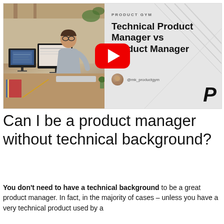[Figure (screenshot): YouTube video thumbnail for 'Technical Product Manager vs Product Manager' by Product Gym, showing a man working at a desk with multiple monitors on the left, and the video title text with a YouTube play button overlay on the right. A large italic P logo appears in the bottom right of the thumbnail.]
Can I be a product manager without technical background?
You don't need to have a technical background to be a great product manager. In fact, in the majority of cases – unless you have a very technical product used by a technical audience, technical background